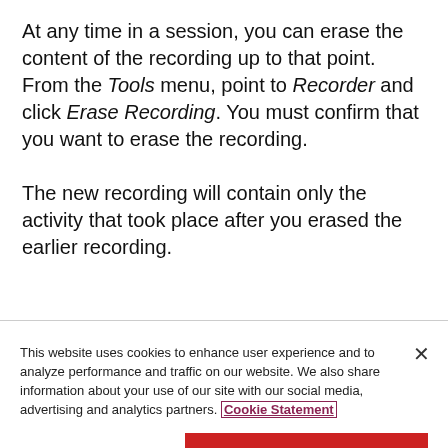At any time in a session, you can erase the content of the recording up to that point. From the Tools menu, point to Recorder and click Erase Recording. You must confirm that you want to erase the recording.

The new recording will contain only the activity that took place after you erased the earlier recording.
This website uses cookies to enhance user experience and to analyze performance and traffic on our website. We also share information about your use of our site with our social media, advertising and analytics partners. Cookie Statement
Do Not Sell My Personal Information
Accept Cookies